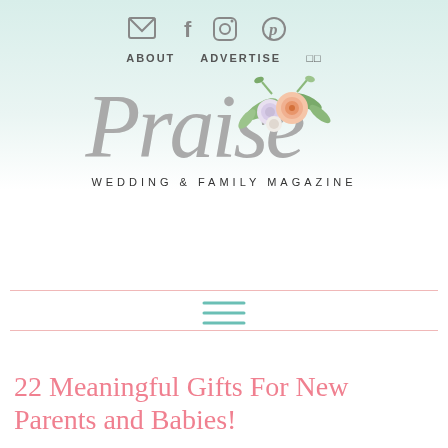✉ f ○ p
ABOUT  ADVERTISE  ⊞
[Figure (logo): Praise Wedding & Family Magazine logo — cursive gray 'Praise' script with watercolor floral arrangement (pink, peach, white roses with green leaves) above the 'P', and 'WEDDING & FAMILY MAGAZINE' in small spaced caps below]
[Figure (other): Teal/mint horizontal hamburger menu icon (three lines) between two pink horizontal divider lines]
22 Meaningful Gifts For New Parents and Babies!